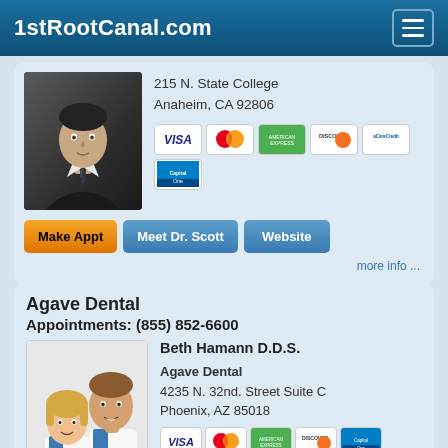1stRootCanal.com
215 N. State College
Anaheim, CA 92806
[Figure (photo): Doctor in suit, professional headshot photo]
[Figure (other): Payment method logos: VISA, MasterCard, American Express, Discover, CareCredit, Capital One]
Make Appt   Meet Dr. Scott   Website
more info ...
Agave Dental
Appointments: (855) 852-6600
Beth Hamann D.D.S.
Agave Dental
4235 N. 32nd. Street Suite C
Phoenix, AZ 85018
[Figure (photo): Two dentists in white coats smiling — a woman and a man]
[Figure (other): Payment method logos: VISA, MasterCard, American Express, Discover, Capital One, CareCredit]